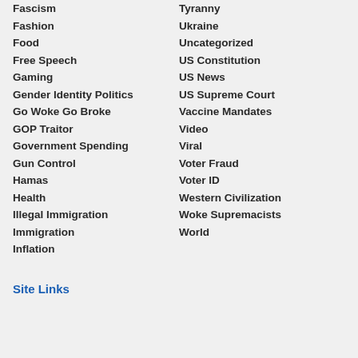Fascism
Fashion
Food
Free Speech
Gaming
Gender Identity Politics
Go Woke Go Broke
GOP Traitor
Government Spending
Gun Control
Hamas
Health
Illegal Immigration
Immigration
Inflation
Tyranny
Ukraine
Uncategorized
US Constitution
US News
US Supreme Court
Vaccine Mandates
Video
Viral
Voter Fraud
Voter ID
Western Civilization
Woke Supremacists
World
Site Links